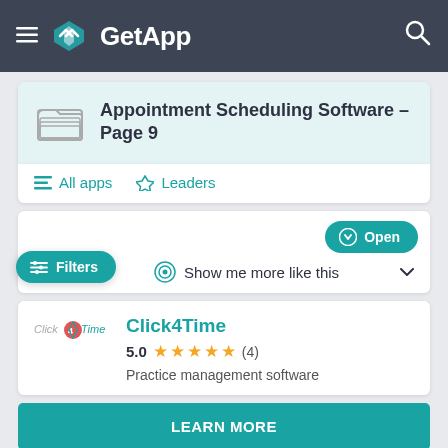GetApp
Appointment Scheduling Software - Page 9
All apps   Leaders
Open
Filters
Show me more like this
Click4Time
5.0  (4)  Practice management software
LEARN MORE